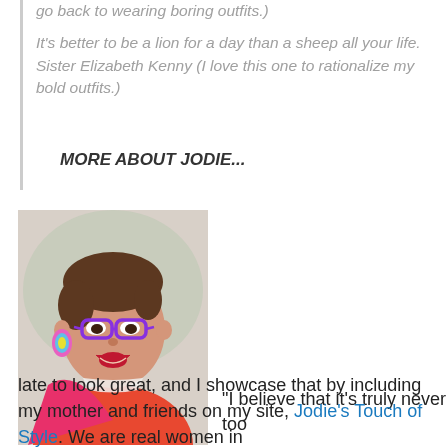go back to wearing boring outfits.)
It's better to be a lion for a day than a sheep all your life. Sister Elizabeth Kenny (I love this one to rationalize my bold outfits.)
MORE ABOUT JODIE...
[Figure (photo): Portrait photo of Jodie, a smiling woman with short brown hair, purple glasses, colorful earrings, wearing an orange and pink outfit]
“I believe that it’s truly never too late to look great, and I showcase that by including my mother and friends on my site, Jodie’s Touch of Style. We are real women in